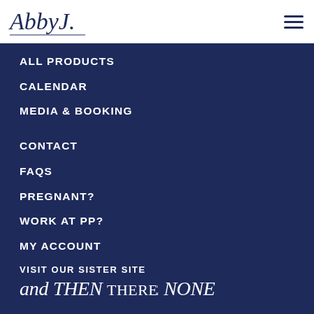AbbyJ. [logo] [hamburger menu]
ALL PRODUCTS
CALENDAR
MEDIA & BOOKING
CONTACT
FAQS
PREGNANT?
WORK AT PP?
MY ACCOUNT
VISIT OUR SISTER SITE
and THEN THERE NONE